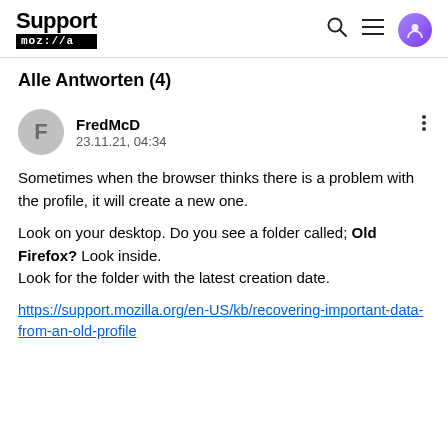Support mozilla  [search] [menu] [user]
Alle Antworten (4)
FredMcD
23.11.21, 04:34
Sometimes when the browser thinks there is a problem with the profile, it will create a new one.

Look on your desktop. Do you see a folder called; Old Firefox? Look inside.
Look for the folder with the latest creation date.

https://support.mozilla.org/en-US/kb/recovering-important-data-from-an-old-profile